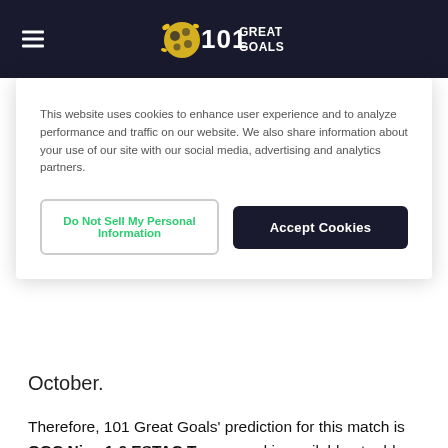101 Great Goals
This website uses cookies to enhance user experience and to analyze performance and traffic on our website. We also share information about your use of our site with our social media, advertising and analytics partners.
Do Not Sell My Personal Information | Accept Cookies
October.
Therefore, 101 Great Goals' prediction for this match is OGC Nice 1-0 ESTAC Troyes and is available at odds of 6/1.
Alternatively, you can bet on any Nice win at 1.61/1 against ESTAC at home on Sunday.
Or, back any away win for Troyes at 5.5/1 here at the Allianz Riviera.